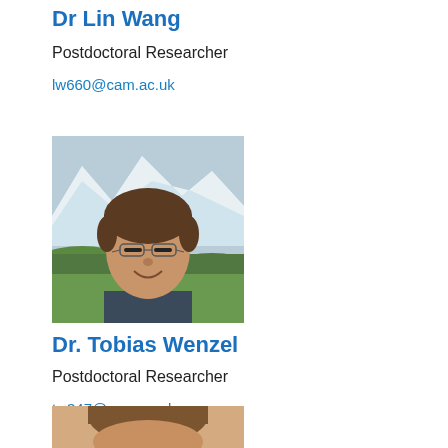Dr Lin Wang
Postdoctoral Researcher
lw660@cam.ac.uk
[Figure (photo): Portrait photo of Dr. Tobias Wenzel, a young man with glasses smiling outdoors with mountains in the background]
Dr. Tobias Wenzel
Postdoctoral Researcher
tw347@cam.ac.uk
[Figure (photo): Partial portrait photo of a third researcher, only top of head visible]